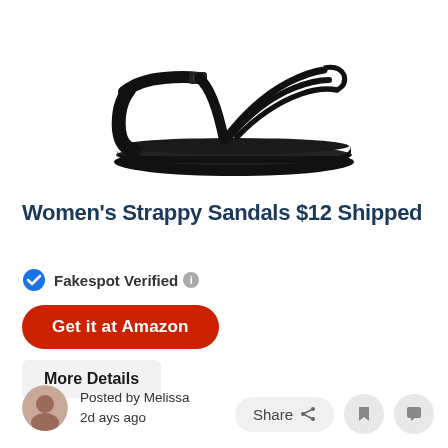[Figure (photo): Black women's strappy sandal with multiple thin toe straps and ankle strap on a flat sole, side profile view on white background]
Women's Strappy Sandals $12 Shipped
Fakespot Verified
Get it at Amazon
More Details
Posted by Melissa
2 days ago